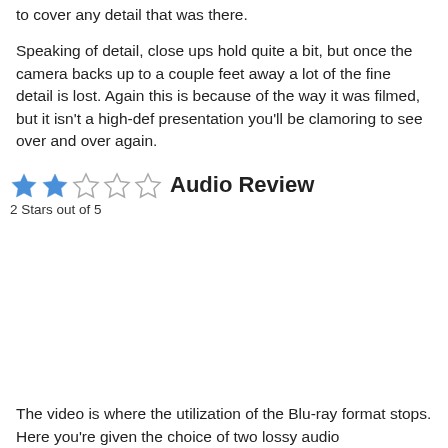to cover any detail that was there.
Speaking of detail, close ups hold quite a bit, but once the camera backs up to a couple feet away a lot of the fine detail is lost. Again this is because of the way it was filmed, but it isn't a high-def presentation you'll be clamoring to see over and over again.
Audio Review
2 Stars out of 5
The video is where the utilization of the Blu-ray format stops. Here you're given the choice of two lossy audio